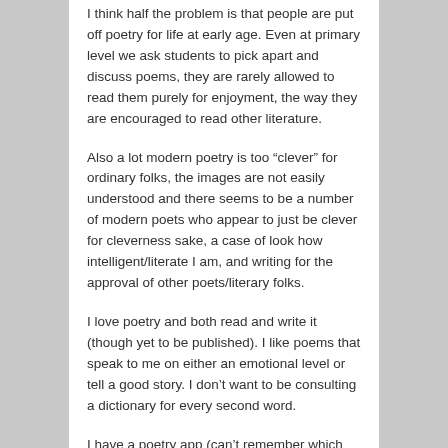I think half the problem is that people are put off poetry for life at early age. Even at primary level we ask students to pick apart and discuss poems, they are rarely allowed to read them purely for enjoyment, the way they are encouraged to read other literature.
Also a lot modern poetry is too “clever” for ordinary folks, the images are not easily understood and there seems to be a number of modern poets who appear to just be clever for cleverness sake, a case of look how intelligent/literate I am, and writing for the approval of other poets/literary folks.
I love poetry and both read and write it (though yet to be published). I like poems that speak to me on either an emotional level or tell a good story. I don’t want to be consulting a dictionary for every second word.
I have a poetry app (can’t remember which one)